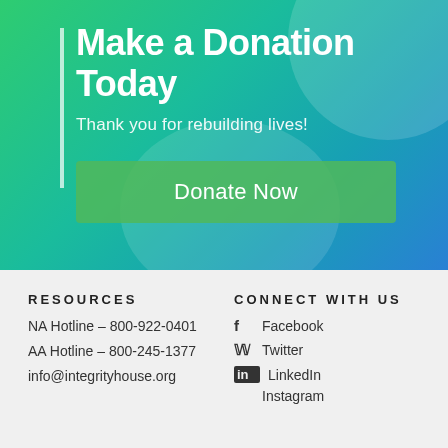Make a Donation Today
Thank you for rebuilding lives!
Donate Now
RESOURCES
NA Hotline – 800-922-0401
AA Hotline – 800-245-1377
info@integrityhouse.org
CONNECT WITH US
Facebook
Twitter
LinkedIn
Instagram